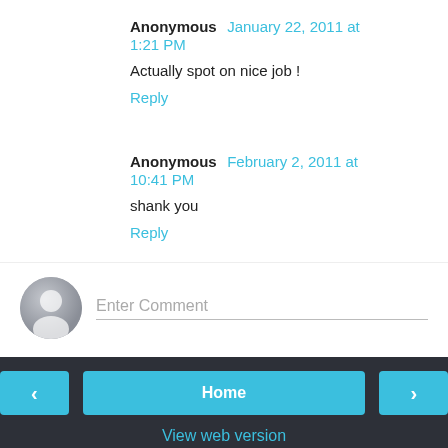Anonymous January 22, 2011 at 1:21 PM
Actually spot on nice job !
Reply
Anonymous February 2, 2011 at 10:41 PM
shank you
Reply
Enter Comment
Home
View web version
Powered by Blogger.